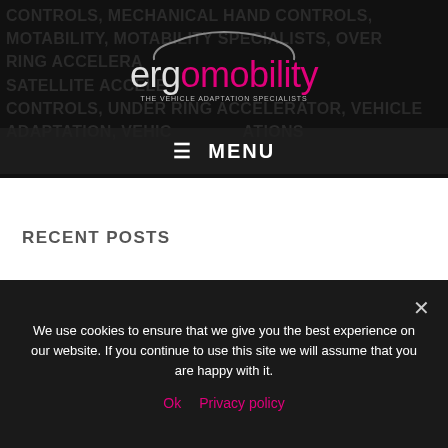[Figure (logo): ergomobility logo - THE VEHICLE ADAPTATION SPECIALISTS, with car outline silhouette, white and pink text on dark background]
CONTROLS, MECHANICAL HAND CONTROLS, MOTABILITY, MOTABILITY SPECIALISTS, OVER RING ACCELERATOR, SATELLITE ACCELERATOR, CONTROLS, UNDER RING ACCELERATOR, VEHICLE ADAPTATION, VEHICLE ADAPTATIONS
≡ MENU
RECENT POSTS
More vehicle transfer adaptations
Person Hoists: Everything you need to know
We use cookies to ensure that we give you the best experience on our website. If you continue to use this site we will assume that you are happy with it.
Ok   Privacy policy